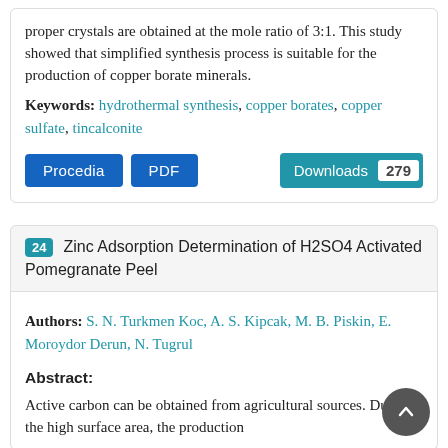proper crystals are obtained at the mole ratio of 3:1. This study showed that simplified synthesis process is suitable for the production of copper borate minerals.
Keywords: hydrothermal synthesis, copper borates, copper sulfate, tincalconite
Procedia  PDF  Downloads 279
24 Zinc Adsorption Determination of H2SO4 Activated Pomegranate Peel
Authors: S. N. Turkmen Koc, A. S. Kipcak, M. B. Piskin, E. Moroydor Derun, N. Tugrul
Abstract:
Active carbon can be obtained from agricultural sources. Due to the high surface area, the production